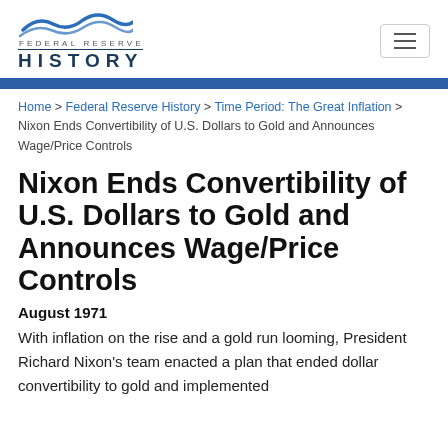FEDERAL RESERVE HISTORY
Home > Federal Reserve History > Time Period: The Great Inflation > Nixon Ends Convertibility of U.S. Dollars to Gold and Announces Wage/Price Controls
Nixon Ends Convertibility of U.S. Dollars to Gold and Announces Wage/Price Controls
August 1971
With inflation on the rise and a gold run looming, President Richard Nixon's team enacted a plan that ended dollar convertibility to gold and implemented